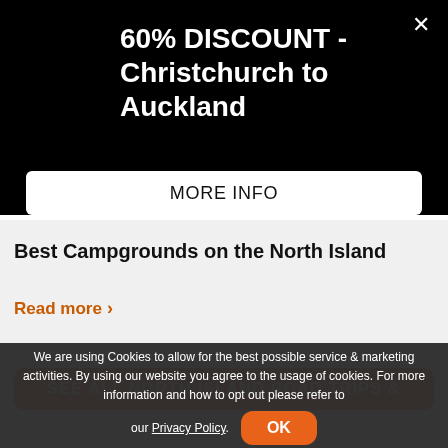60% DISCOUNT - Christchurch to Auckland
MORE INFO
Best Campgrounds on the North Island
Read more >
SEE ALL NORTH ISLAND ROAD TRIPS &
We are using Cookies to allow for the best possible service & marketing activities. By using our website you agree to the usage of cookies. For more information and how to opt out please refer to our Privacy Policy.
OK